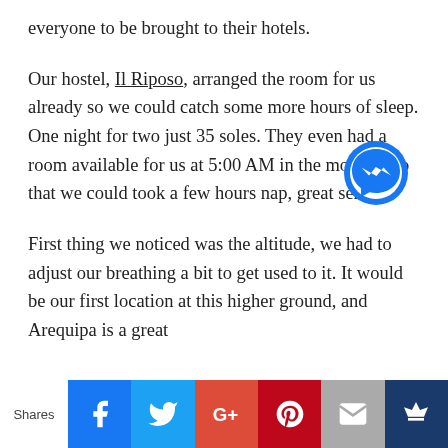everyone to be brought to their hotels.
Our hostel, Il Riposo, arranged the room for us already so we could catch some more hours of sleep. One night for two just 35 soles. They even had a room available for us at 5:00 AM in the morning so that we could took a few hours nap, great service!
[Figure (logo): Facebook Messenger chat bubble icon, blue circle with white lightning bolt messenger logo]
First thing we noticed was the altitude, we had to adjust our breathing a bit to get used to it. It would be our first location at this higher ground, and Arequipa is a great
[Figure (infographic): Social share bar with Shares label and buttons: Facebook (blue), Twitter (light blue), Google+ (red-orange), Pinterest (dark red), Email (gray), Crown/bookmark (dark blue)]